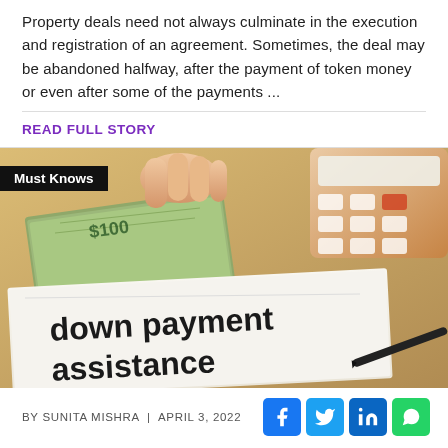Property deals need not always culminate in the execution and registration of an agreement. Sometimes, the deal may be abandoned halfway, after the payment of token money or even after some of the payments ...
READ FULL STORY
[Figure (photo): Photo of hands holding US dollar bills with a calculator in background and a document reading 'down payment assistance' with a pen, labeled 'Must Knows']
BY SUNITA MISHRA | APRIL 3, 2022